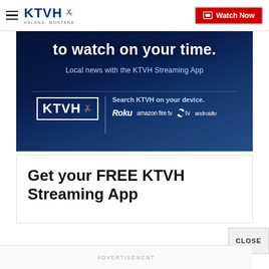KTVH | Watch Now
[Figure (screenshot): KTVH streaming app advertisement banner with dark blue background. Text reads 'to watch on your time.' and 'Local news with the KTVH Streaming App'. Shows KTVH logo and platform icons: Roku, amazon fire tv, Apple tv, androidtv.]
Get your FREE KTVH Streaming App
ADVERTISEMENT